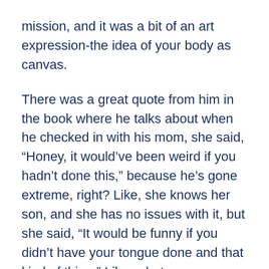mission, and it was a bit of an art expression-the idea of your body as canvas.
There was a great quote from him in the book where he talks about when he checked in with his mom, she said, “Honey, it would’ve been weird if you hadn’t done this,” because he’s gone extreme, right? Like, she knows her son, and she has no issues with it, but she said, “It would be funny if you didn’t have your tongue done and that kind of thing.” Like, what are you going to do? You’ve got to do it all the way sort of thing. He’s obviously a will in the family to mess around and play with that, but we were expecting kind of a bit of a crazy man when we talked to him, and he’s just incredibly intelligent, well-spoken, and philosophical about this. His body is canvas, and